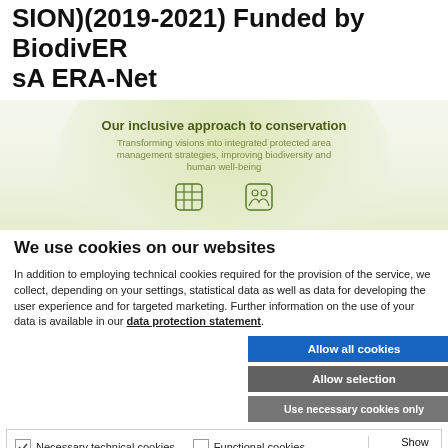SION)(2019-2021) Funded by BiodivERsA ERA-Net
[Figure (screenshot): Hero image showing 'Our inclusive approach to conservation' with subtitle 'Transforming visions into integrated protected area management strategies, improving biodiversity and human well-being' on a light green background with circular gradient and icons at the bottom.]
We use cookies on our websites
In addition to employing technical cookies required for the provision of the service, we collect, depending on your settings, statistical data as well as data for developing the user experience and for targeted marketing. Further information on the use of your data is available in our data protection statement.
Allow all cookies
Allow selection
Use necessary cookies only
Necessary technical cookies  Functional cookies  Statistics cookies  Marketing cookies  Show details